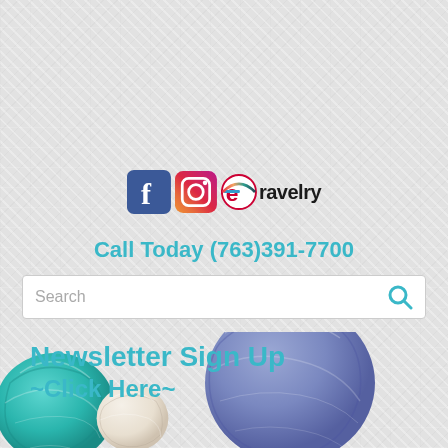[Figure (illustration): Social media icons: Facebook (blue square with white f), Instagram (camera icon with rainbow gradient), Ravelry (red/pink circular logo with letter e, followed by text 'ravelry')]
Call Today (763)391-7700
[Figure (screenshot): Search bar with placeholder text 'Search' and a teal search magnifying glass icon on the right]
[Figure (illustration): Newsletter Sign Up ~Click Here~ text overlaid on balls of yarn: teal yarn ball on left, cream/white yarn ball in center, purple/blue yarn ball on right]
Newsletter Sign Up ~Click Here~